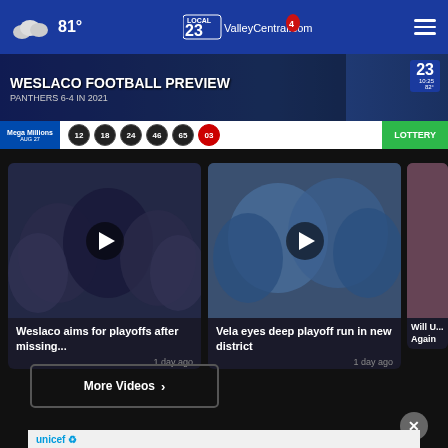81° ValleyCentral.com Local 23/4 news header
[Figure (screenshot): Weslaco Football Preview video banner showing PANTHERS 6-4 IN 2021 with channel 23 bug and lottery numbers 12 18 24 46 65 03]
Weslaco aims for playoffs after missing...
1 day ago
Vela eyes deep playoff run in new district
1 day ago
Will U... Again
More Videos ›
[Figure (photo): UNICEF advertisement with children in traditional hats]